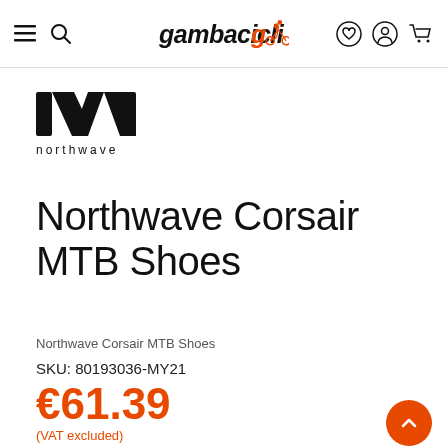gambacicli — navigation header with hamburger, search, logo, wishlist, account, cart icons
[Figure (logo): Northwave brand logo: stylized NW letterform in black with 'northwave' text below]
Northwave Corsair MTB Shoes
Northwave Corsair MTB Shoes
SKU: 80193036-MY21
€61.39
(VAT excluded)
81.96 € -25%
Availability: IN STOCK